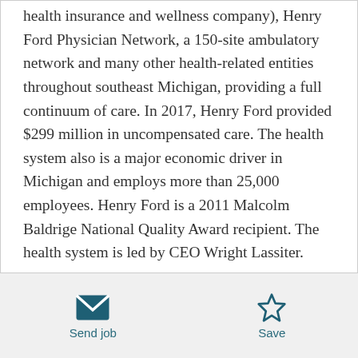Medical Group, its hospitals, Health Alliance Plan (a health insurance and wellness company), Henry Ford Physician Network, a 150-site ambulatory network and many other health-related entities throughout southeast Michigan, providing a full continuum of care. In 2017, Henry Ford provided $299 million in uncompensated care. The health system also is a major economic driver in Michigan and employs more than 25,000 employees. Henry Ford is a 2011 Malcolm Baldrige National Quality Award recipient. The health system is led by CEO Wright Lassiter.
The HFMG centers social justice, equity, diversity, and
Send job | Save